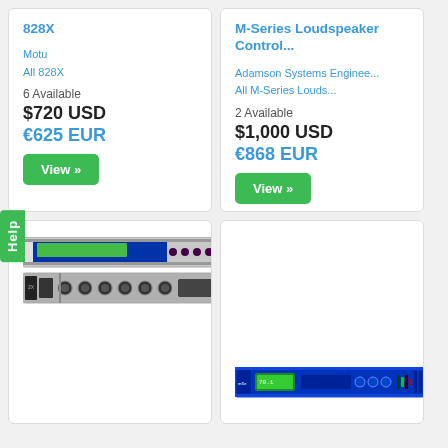828X
Motu
All 828X
6 Available
$720 USD
€625 EUR
View »
M-Series Loudspeaker Control...
Adamson Systems Enginee...
All M-Series Louds...
2 Available
$1,000 USD
€868 EUR
View »
[Figure (photo): Rack-mount audio interface unit - front and rear panels shown]
[Figure (photo): Blue rack-mount DSP speaker processor unit]